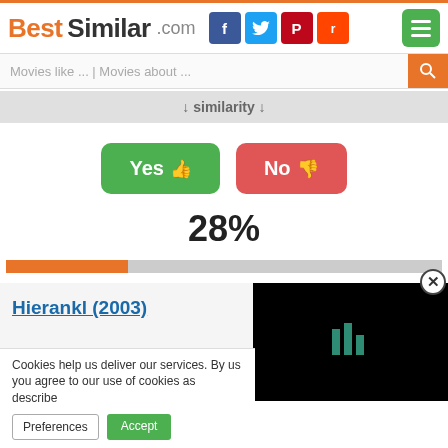[Figure (screenshot): BestSimilar.com website header with logo and social media icons (Facebook, Twitter, Pinterest, Reddit) and green menu button]
Movies like ... | Movies about ...
↓ similarity ↓
[Figure (infographic): Yes thumbs-up button (green) and No thumbs-down button (red)]
28%
[Figure (infographic): Orange progress bar at 28%]
Hierankl (2003)
Cookies help us deliver our services. By us you agree to our use of cookies as describe
Preferences
Accept